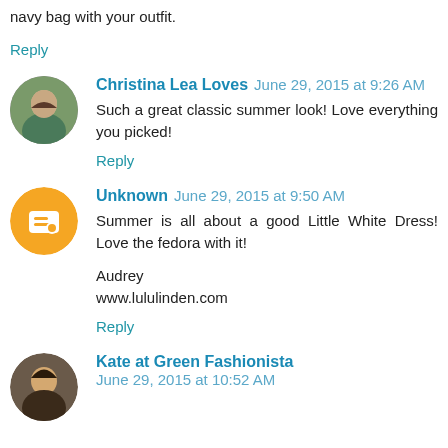navy bag with your outfit.
Reply
Christina Lea Loves  June 29, 2015 at 9:26 AM
Such a great classic summer look! Love everything you picked!
Reply
Unknown  June 29, 2015 at 9:50 AM
Summer is all about a good Little White Dress! Love the fedora with it!

Audrey
www.lululinden.com
Reply
Kate at Green Fashionista  June 29, 2015 at 10:52 AM